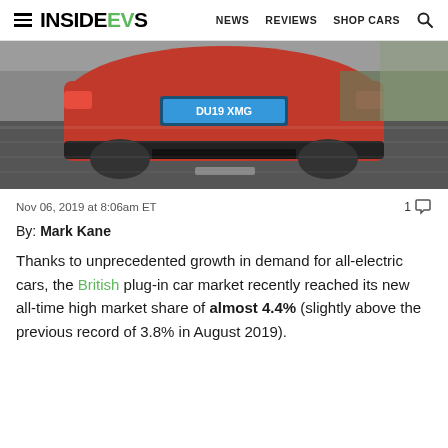InsideEVs — NEWS  REVIEWS  SHOP CARS
[Figure (photo): Rear view of a red car driving on a road, license plate partially visible reading DU19 XMG, motion-blurred background]
Nov 06, 2019 at 8:06am ET
By: Mark Kane
Thanks to unprecedented growth in demand for all-electric cars, the British plug-in car market recently reached its new all-time high market share of almost 4.4% (slightly above the previous record of 3.8% in August 2019).